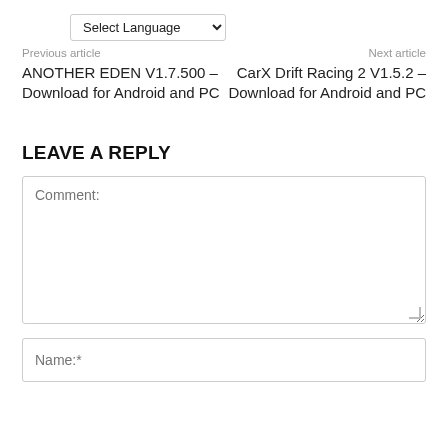Select Language
Previous article
Next article
ANOTHER EDEN V1.7.500 – Download for Android and PC
CarX Drift Racing 2 V1.5.2 – Download for Android and PC
LEAVE A REPLY
Comment:
Name:*